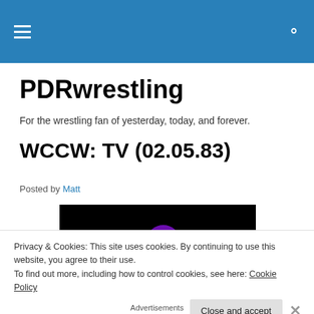PDRwrestling — navigation bar with hamburger menu and search icon
PDRwrestling
For the wrestling fan of yesterday, today, and forever.
WCCW: TV (02.05.83)
Posted by Matt
[Figure (screenshot): Dark video thumbnail with purple shapes/blobs visible]
Privacy & Cookies: This site uses cookies. By continuing to use this website, you agree to their use.
To find out more, including how to control cookies, see here: Cookie Policy
Close and accept
Advertisements